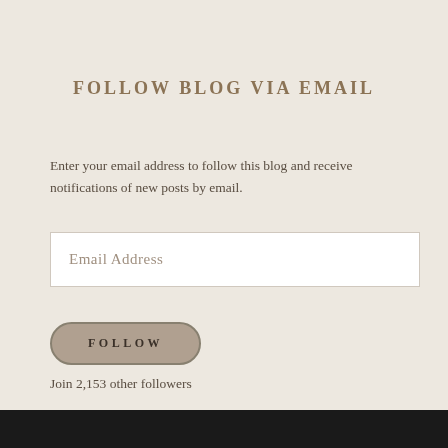FOLLOW BLOG VIA EMAIL
Enter your email address to follow this blog and receive notifications of new posts by email.
[Figure (other): Email address input field with placeholder text 'Email Address']
[Figure (other): Follow button with rounded pill shape and label 'FOLLOW']
Join 2,153 other followers